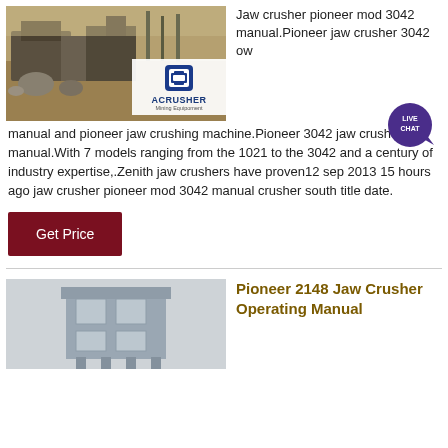[Figure (photo): Mining/crushing equipment site with ACRUSHER Mining Equipment logo overlay]
Jaw crusher pioneer mod 3042 manual.Pioneer jaw crusher 3042 ow
manual and pioneer jaw crushing machine.Pioneer 3042 jaw crusher manual.With 7 models ranging from the 1021 to the 3042 and a century of industry expertise,.Zenith jaw crushers have proven12 sep 2013 15 hours ago jaw crusher pioneer mod 3042 manual crusher south title date.
Get Price
[Figure (photo): Industrial equipment or facility building in misty/foggy conditions]
Pioneer 2148 Jaw Crusher Operating Manual